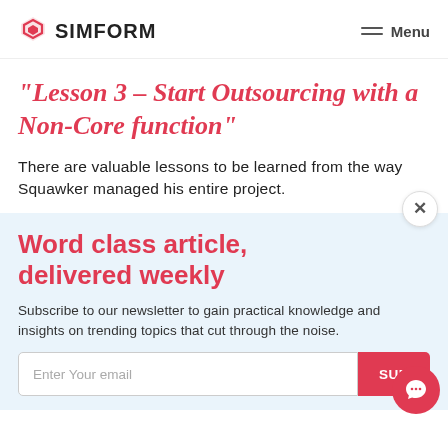SIMFORM | Menu
“Lesson 3 – Start Outsourcing with a Non-Core function”
There are valuable lessons to be learned from the way Squawker managed his entire project.
Word class article, delivered weekly
Subscribe to our newsletter to gain practical knowledge and insights on trending topics that cut through the noise.
Enter Your email | SUB